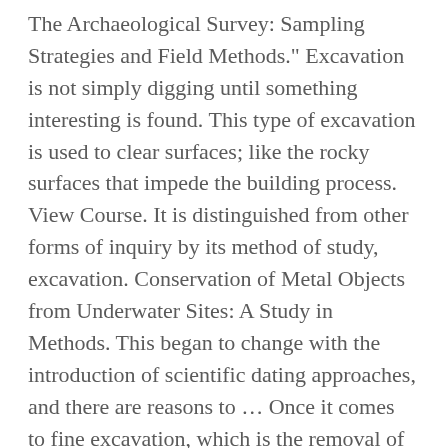The Archaeological Survey: Sampling Strategies and Field Methods." Excavation is not simply digging until something interesting is found. This type of excavation is used to clear surfaces; like the rocky surfaces that impede the building process. View Course. It is distinguished from other forms of inquiry by its method of study, excavation. Conservation of Metal Objects from Underwater Sites: A Study in Methods. This began to change with the introduction of scientific dating approaches, and there are reasons to … Once it comes to fine excavation, which is the removal of earth and debris close to the object being uncovered, professionals often have their own preferred types of archaeology tools. That sort of unscientific digging destroys the archaeological information. On small sites or in confined spaces, excavation may be carried out by manual means using tools such as picks, shovels and